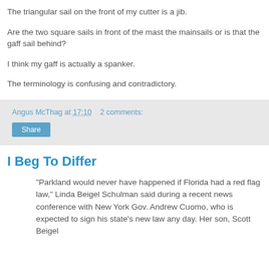The triangular sail on the front of my cutter is a jib.
Are the two square sails in front of the mast the mainsails or is that the gaff sail behind?
I think my gaff is actually a spanker.
The terminology is confusing and contradictory.
Angus McThag at 17:10    2 comments:
Share
I Beg To Differ
"Parkland would never have happened if Florida had a red flag law," Linda Beigel Schulman said during a recent news conference with New York Gov. Andrew Cuomo, who is expected to sign his state's new law any day. Her son, Scott Beigel